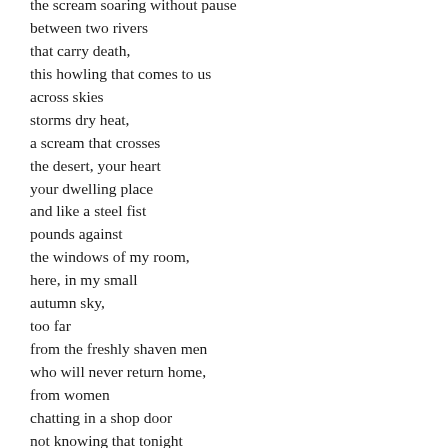the scream soaring without pause
between two rivers
that carry death,
this howling that comes to us
across skies
storms dry heat,
a scream that crosses
the desert, your heart
your dwelling place
and like a steel fist
pounds against
the windows of my room,
here, in my small
autumn sky,
too far
from the freshly shaven men
who will never return home,
from women
chatting in a shop door
not knowing that tonight
they will sleep with death,
from those who have sung in the shower
for the last time, beautiful songs